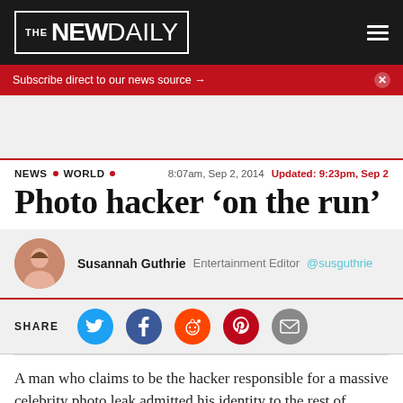THE NEW DAILY
Subscribe direct to our news source →
[Figure (other): Grey advertisement placeholder space]
NEWS • WORLD • 8:07am, Sep 2, 2014 Updated: 9:23pm, Sep 2
Photo hacker 'on the run'
Susannah Guthrie  Entertainment Editor  @susguthrie
SHARE
A man who claims to be the hacker responsible for a massive celebrity photo leak admitted his identity to the rest of